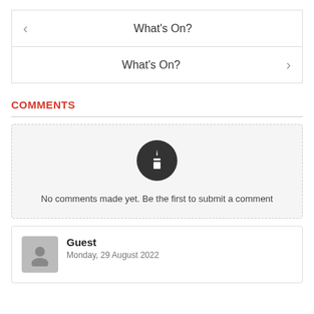< What's On?
What's On? >
COMMENTS
No comments made yet. Be the first to submit a comment
Guest
Monday, 29 August 2022